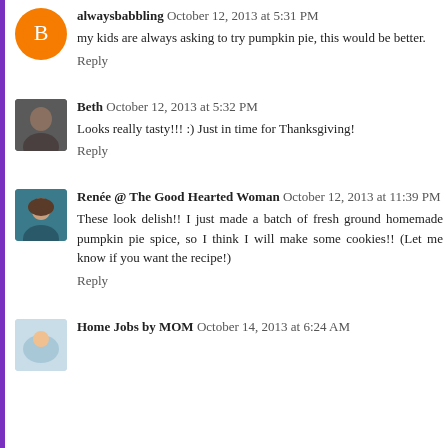alwaysbabbling October 12, 2013 at 5:31 PM
my kids are always asking to try pumpkin pie, this would be better.
Reply
Beth October 12, 2013 at 5:32 PM
Looks really tasty!!! :) Just in time for Thanksgiving!
Reply
Renée @ The Good Hearted Woman October 12, 2013 at 11:39 PM
These look delish!! I just made a batch of fresh ground homemade pumpkin pie spice, so I think I will make some cookies!! (Let me know if you want the recipe!)
Reply
Home Jobs by MOM October 14, 2013 at 6:24 AM